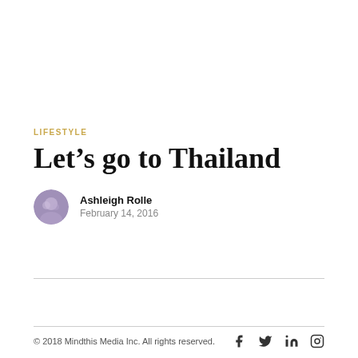LIFESTYLE
Let’s go to Thailand
Ashleigh Rolle
February 14, 2016
© 2018 Mindthis Media Inc. All rights reserved.